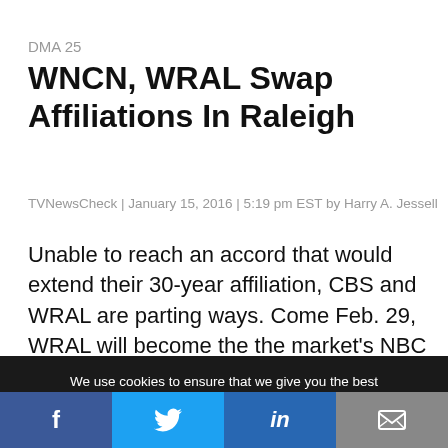DMA 25
WNCN, WRAL Swap Affiliations In Raleigh
TVNewsCheck | January 15, 2016 | 5:19 pm EST by Harry A. Jessell
Unable to reach an accord that would extend their 30-year affiliation, CBS and WRAL are parting ways. Come Feb. 29, WRAL will become the the market's NBC affiliate and Media General's WNCN will become its CBS affiliate.
We use cookies to ensure that we give you the best experience on our website. If you continue to use this site we will assume that you are happy with it.